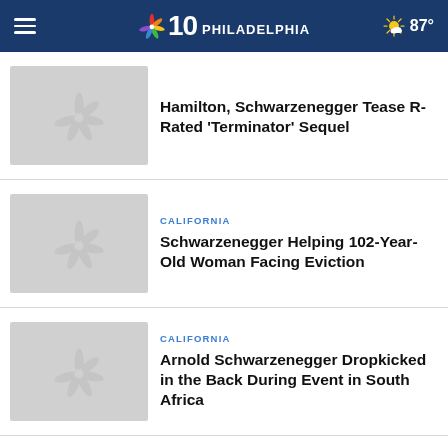NBC 10 Philadelphia | 87°
[Figure (screenshot): NBC peacock logo placeholder thumbnail for article 1]
Hamilton, Schwarzenegger Tease R-Rated 'Terminator' Sequel
[Figure (screenshot): NBC peacock logo placeholder thumbnail for article 2]
CALIFORNIA
Schwarzenegger Helping 102-Year-Old Woman Facing Eviction
[Figure (screenshot): NBC peacock logo placeholder thumbnail for article 3]
CALIFORNIA
Arnold Schwarzenegger Dropkicked in the Back During Event in South Africa